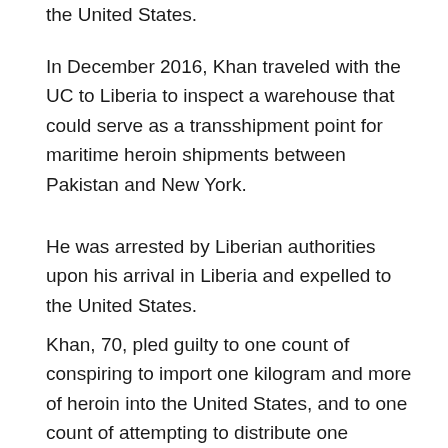the United States.
In December 2016, Khan traveled with the UC to Liberia to inspect a warehouse that could serve as a transshipment point for maritime heroin shipments between Pakistan and New York.
He was arrested by Liberian authorities upon his arrival in Liberia and expelled to the United States.
Khan, 70, pled guilty to one count of conspiring to import one kilogram and more of heroin into the United States, and to one count of attempting to distribute one kilogram and more of heroin, knowing and intending that it would be imported into the United States.